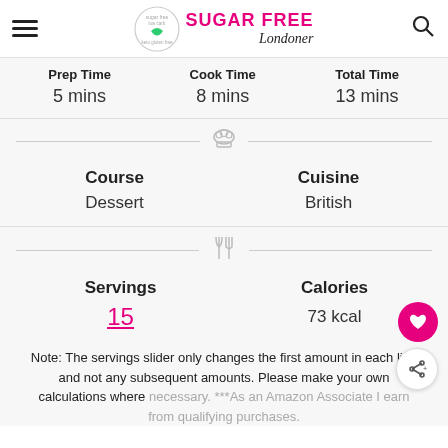Sugar Free Londoner
| Prep Time | Cook Time | Total Time |
| --- | --- | --- |
| 5 mins | 8 mins | 13 mins |
| Course | Cuisine |
| --- | --- |
| Dessert | British |
| Servings | Calories |
| --- | --- |
| 15 | 73 kcal |
Note: The servings slider only changes the first amount in each line and not any subsequent amounts. Please make your own calculations where necessary. ***As an Amazon Associate I earn from qualifying purchases.